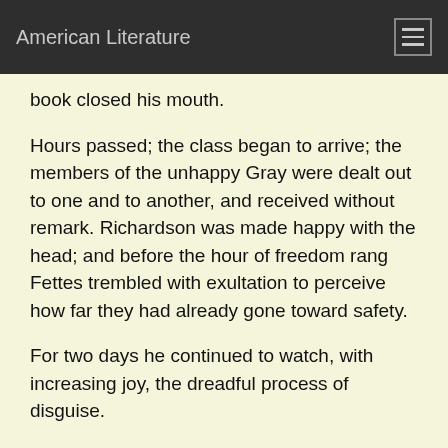American Literature
book closed his mouth.
Hours passed; the class began to arrive; the members of the unhappy Gray were dealt out to one and to another, and received without remark. Richardson was made happy with the head; and before the hour of freedom rang Fettes trembled with exultation to perceive how far they had already gone toward safety.
For two days he continued to watch, with increasing joy, the dreadful process of disguise.
On the third day Macfarlane made his appearance. He had been ill, he said; but he made up for lost